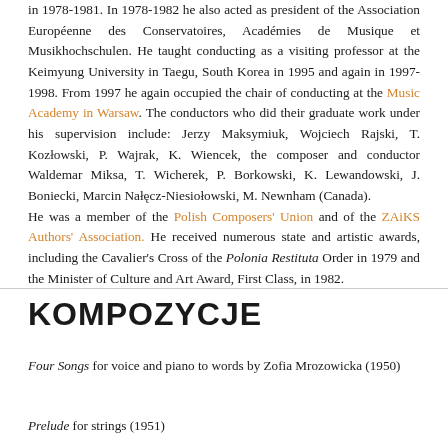in 1978-1981. In 1978-1982 he also acted as president of the Association Européenne des Conservatoires, Académies de Musique et Musikhochschulen. He taught conducting as a visiting professor at the Keimyung University in Taegu, South Korea in 1995 and again in 1997-1998. From 1997 he again occupied the chair of conducting at the Music Academy in Warsaw. The conductors who did their graduate work under his supervision include: Jerzy Maksymiuk, Wojciech Rajski, T. Kozłowski, P. Wajrak, K. Wiencek, the composer and conductor Waldemar Miksa, T. Wicherek, P. Borkowski, K. Lewandowski, J. Boniecki, Marcin Nałęcz-Niesiołowski, M. Newnham (Canada). He was a member of the Polish Composers' Union and of the ZAiKS Authors' Association. He received numerous state and artistic awards, including the Cavalier's Cross of the Polonia Restituta Order in 1979 and the Minister of Culture and Art Award, First Class, in 1982.
KOMPOZYCJE
Four Songs for voice and piano to words by Zofia Mrozowicka (1950)
Prelude for strings (1951)